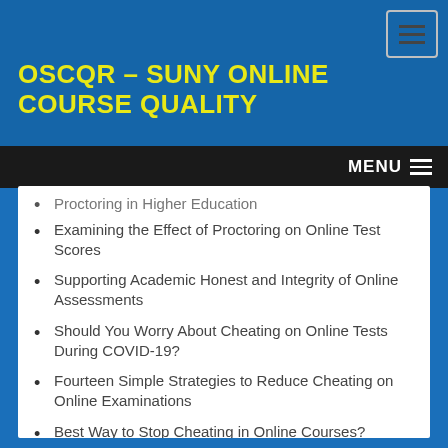OSCQR – SUNY ONLINE COURSE QUALITY REVIEW RUBRIC
Proctoring in Higher Education
Examining the Effect of Proctoring on Online Test Scores
Supporting Academic Honest and Integrity of Online Assessments
Should You Worry About Cheating on Online Tests During COVID-19?
Fourteen Simple Strategies to Reduce Cheating on Online Examinations
Best Way to Stop Cheating in Online Courses? 'Teach Better'